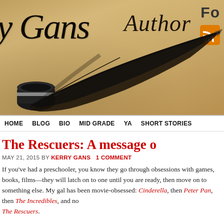[Figure (photo): Blog header banner with parchment background showing 'y Gans Author' in decorative cursive script, a quill pen and ink pot, and an RSS feed icon in the upper right corner. The text 'Fo' is partially visible in the top right.]
HOME   BLOG   BIO   MID GRADE   YA   SHORT STORIES
The Rescuers: A message o
MAY 21, 2015 BY KERRY GANS   1 COMMENT
If you've had a preschooler, you know they go through obsessions with games, books, films—they will latch on to one until you are ready, then move on to something else. My gal has been movie-obsessed: Cinderella, then Peter Pan, then The Incredibles, and now The Rescuers.